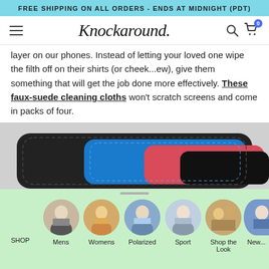FREE SHIPPING ON ALL ORDERS - ENDS AT MIDNIGHT (PDT)
[Figure (screenshot): Knockaround website navigation bar with hamburger menu, Knockaround script logo, search icon, and cart icon with badge showing 0]
layer on our phones. Instead of letting your loved one wipe the filth off on their shirts (or cheek...ew), give them something that will get the job done more effectively. These faux-suede cleaning cloths won't scratch screens and come in packs of four.
[Figure (photo): Product photo showing stacked faux-suede cleaning cloths in black, blue, red, and black colors]
[Figure (screenshot): Bottom navigation bar on light green background with circular category images for SHOP, Mens, Womens, Polarized, Sport, Shop the Look, and New (partially visible)]